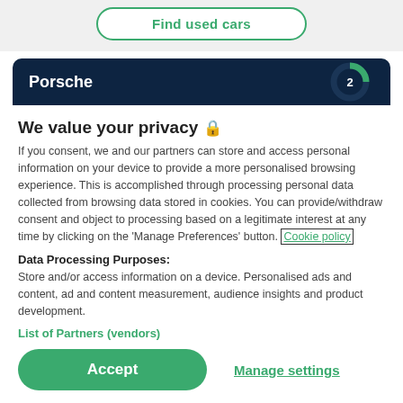[Figure (screenshot): Find used cars button with green rounded border]
[Figure (screenshot): Porsche banner card in dark navy with partial green donut chart showing number 2]
We value your privacy 🔒
If you consent, we and our partners can store and access personal information on your device to provide a more personalised browsing experience. This is accomplished through processing personal data collected from browsing data stored in cookies. You can provide/withdraw consent and object to processing based on a legitimate interest at any time by clicking on the 'Manage Preferences' button. Cookie policy
Data Processing Purposes: Store and/or access information on a device. Personalised ads and content, ad and content measurement, audience insights and product development.
List of Partners (vendors)
Accept
Manage settings